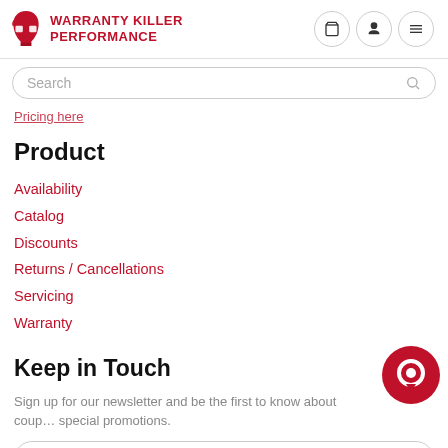[Figure (logo): Warranty Killer Performance logo with red spartan helmet and red bold text]
Pricing here
Product
Availability
Catalog
Discounts
Returns / Cancellations
Servicing
Warranty
Keep in Touch
Sign up for our newsletter and be the first to know about coupons and special promotions.
sales@warrantykillerperformance.com